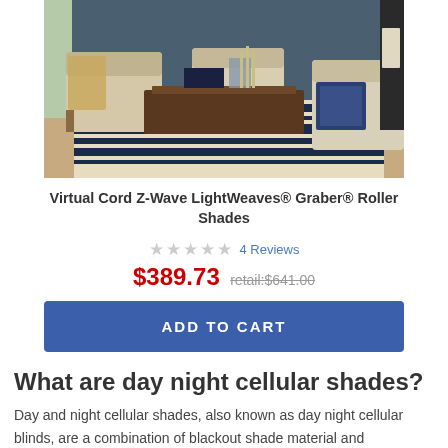[Figure (photo): Living room scene with two beige armchairs and a sofa arranged around a dark wood coffee table on a navy/white striped rug, blue walls in background]
Virtual Cord Z-Wave LightWeaves® Graber® Roller Shades
☆☆☆☆☆ 4 Reviews
$389.73 retail:$641.00
ADD TO CART
What are day night cellular shades?
Day and night cellular shades, also known as day night cellular blinds, are a combination of blackout shade material and